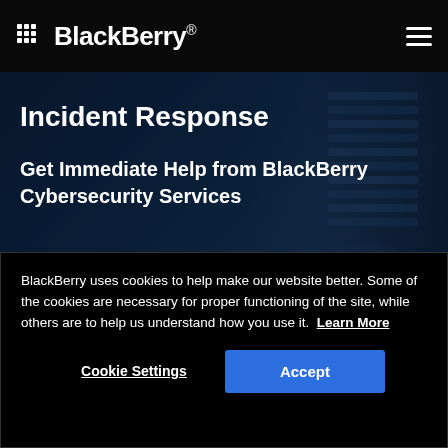BlackBerry
Incident Response
Get Immediate Help from BlackBerry Cybersecurity Services
BlackBerry uses cookies to help make our website better. Some of the cookies are necessary for proper functioning of the site, while others are to help us understand how you use it.  Learn More
Cookie Settings  Accept